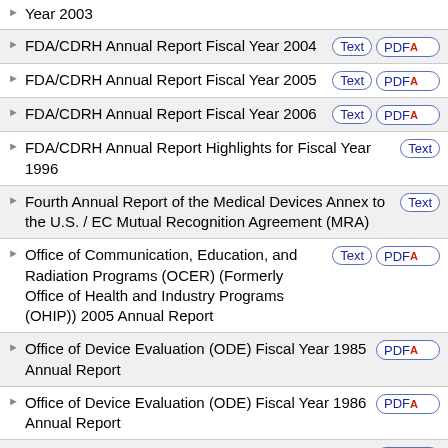Year 2003
FDA/CDRH Annual Report Fiscal Year 2004
FDA/CDRH Annual Report Fiscal Year 2005
FDA/CDRH Annual Report Fiscal Year 2006
FDA/CDRH Annual Report Highlights for Fiscal Year 1996
Fourth Annual Report of the Medical Devices Annex to the U.S. / EC Mutual Recognition Agreement (MRA)
Office of Communication, Education, and Radiation Programs (OCER) (Formerly Office of Health and Industry Programs (OHIP)) 2005 Annual Report
Office of Device Evaluation (ODE) Fiscal Year 1985 Annual Report
Office of Device Evaluation (ODE) Fiscal Year 1986 Annual Report
Office of Device Evaluation (ODE)